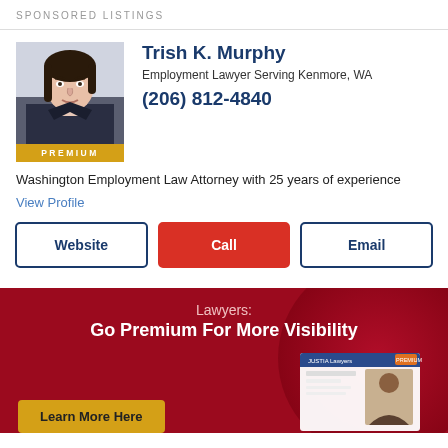SPONSORED LISTINGS
[Figure (photo): Professional headshot of Trish K. Murphy, a woman with dark hair wearing a dark blazer, with a PREMIUM badge overlay at the bottom]
Trish K. Murphy
Employment Lawyer Serving Kenmore, WA
(206) 812-4840
Washington Employment Law Attorney with 25 years of experience
View Profile
Website
Call
Email
[Figure (infographic): Promotional banner with dark red background showing text 'Lawyers: Go Premium For More Visibility' with a Learn More Here button and a Justia Lawyers screenshot mockup]
Lawyers:
Go Premium For More Visibility
Learn More Here